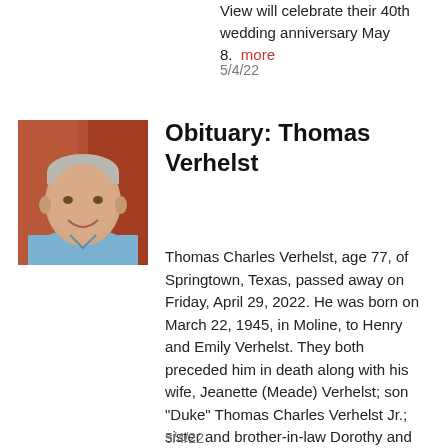View will celebrate their 40th wedding anniversary May 8. more
5/4/22
[Figure (photo): Portrait photo of Thomas Verhelst, an elderly man with gray hair wearing a light blue shirt, smiling at the camera against a reddish background.]
Obituary: Thomas Verhelst
Thomas Charles Verhelst, age 77, of Springtown, Texas, passed away on Friday, April 29, 2022. He was born on March 22, 1945, in Moline, to Henry and Emily Verhelst. They both preceded him in death along with his wife, Jeanette (Meade) Verhelst; son "Duke" Thomas Charles Verhelst Jr.; sister and brother-in-law Dorothy and Ted Zaleski. more
5/4/22